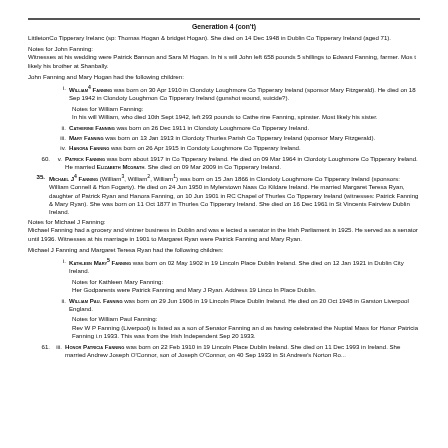Generation 4 (con't)
LittletonCo Tipperary Irelanc (sp: Thomas Hogan & bridget Hogan). She died on 14 Dec 1948 in Dublin Co Tipperary Ireland (aged 71).
Notes for John Fanning:
Witnesses at his wedding were Patrick Bannon and Sara M Hogan. In hi s will John left 658 pounds 5 shillings to Edward Fanning, farmer. Most likely his brother at Shanbally.
John Fanning and Mary Hogan had the following children:
i. WILLIAM4 FANNING was born on 30 Apr 1910 in Clondoty Loughmore Co Tipperary Ireland (sponsor Mary Fitzgerald). He died on 18 Sep 1942 in Clondoty Loughmon Co Tipperary Ireland (gunshot wound, suicide?).
Notes for William Fanning:
In his will William, who died 10th Sept 1942, left 293 pounds to Cathe rine Fanning, spinster. Most likely his sister.
ii. CATHERINE FANNING was born on 26 Dec 1911 in Clondoty Loughmore Co Tipperary Ireland.
iii. MARY FANNING was born on 13 Jan 1913 in Clordoty Thurles Parish Co Tipperary Ireland (sponsor Mary Fitzgerald).
iv. HANORA FANNING was born on 26 Apr 1915 in Condoty Loughmore Co Tipperary Ireland.
60. v. PATRICK FANNING was born about 1917 in Co Tipperary Ireland. He died on 09 Mar 1964 in Clordoty Loughmore Co Tipperary Ireland. He married ELIZABETH MCGRATH. She died on 09 Mar 2009 in Co Tipperary Ireland.
35. MICHAEL J4 FANNING (William3, William2, William1) was born on 15 Jan 1866 in Clondoty Loughmore Co Tipperary Ireland (sponsors: William Connell & Hon Fogarty). He died on 24 Jun 1950 in Mylerstown Naas Co Kildare Ireland. He married Margaret Teresa Ryan, daughter of Patrick Ryan and Hanora Fanning, on 10 Jun 1901 in RC Chapel of Thurles Co Tipperary Ireland (witnesses: Patrick Fanning & Mary Ryan). She was born on 11 Oct 1877 in Thurles Co Tipperary Ireland. She died on 16 Dec 1961 in St Vincents Fairview Dublin Ireland.
Notes for Michael J Fanning:
Michael Fanning had a grocery and vintner business in Dublin and was e lected a senator in the Irish Parliament in 1925. He served as a senator until 1936. Witnesses at his marriage in 1901 to Margaret Ryan were Patrick Fanning and Mary Ryan.
Michael J Fanning and Margaret Teresa Ryan had the following children:
i. KATHLEEN MARY5 FANNING was born on 02 May 1902 in 19 Lincoln Place Dublin Ireland. She died on 12 Jan 1921 in Dublin City Ireland.
Notes for Kathleen Mary Fanning:
Her Godparents were Patrick Fanning and Mary J Ryan. Address 19 Lincoln Place Dublin.
ii. WILLIAM PAU. FANNING was born on 29 Jun 1906 in 19 Lincoln Place Dublin Ireland. He died on 20 Oct 1948 in Garston Liverpool England.
Notes for William Paul Fanning:
Rev W P Fanning (Liverpool) is listed as a son of Senator Fanning and as having celebrated the Nuptial Mass for Honor Patricia Fanning i.n 1933. This was from the Irish Independent Sep 20 1933.
61. iii. HONOR PATRICIA FANNING was born on 22 Feb 1910 in 19 Lincoln Place Dublin Ireland. She died on 11 Dec 1993 in Ireland. She married Andrew Joseph O'Connor, son of Joseph O'Connor, on 40 Sep 1933 in St Andrew's Norton Ro...